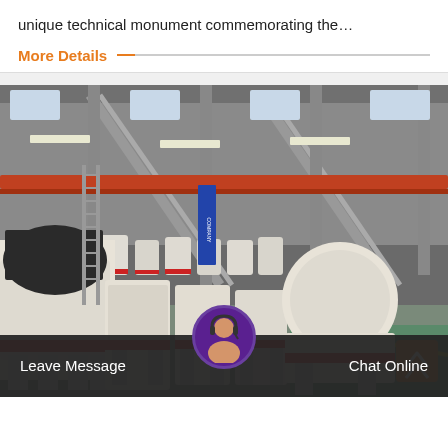unique technical monument commemorating the…
More Details
[Figure (photo): Interior of a large industrial factory/warehouse showing multiple large white heavy-duty crushing and grinding machines (jaw crushers, impact crushers) lined up on the floor, with red-trimmed bases, under a tall steel-framed roof structure with overhead cranes and skylights. The factory floor has green and yellow markings visible in the far right corner.]
Leave Message
Chat Online